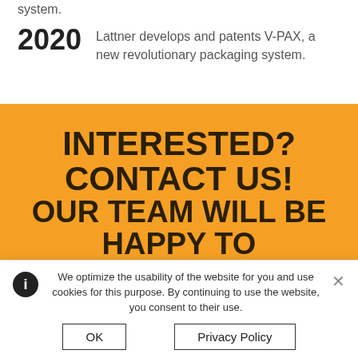system.
2020 — Lattner develops and patents V-PAX, a new revolutionary packaging system.
INTERESTED? CONTACT US! OUR TEAM WILL BE HAPPY TO HELP
We optimize the usability of the website for you and use cookies for this purpose. By continuing to use the website, you consent to their use.
OK
Privacy Policy